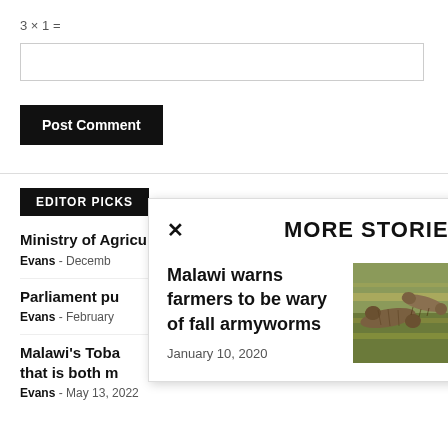[input box for math answer]
Post Comment
EDITOR PICKS
Ministry of Agriculture remain upbeat on the AIP
Evans - December ...
Parliament pu...
Evans - February ...
Malawi's Toba... that is both m...
Evans - May 13, 2022
MORE STORIES
Malawi warns farmers to be wary of fall armyworms
January 10, 2020
[Figure (photo): Close-up photo of fall armyworms on a plant]